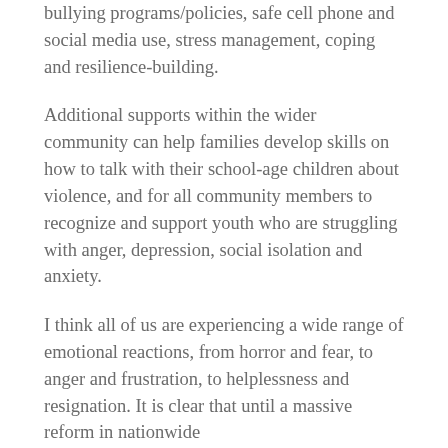bullying programs/policies, safe cell phone and social media use, stress management, coping and resilience-building.
Additional supports within the wider community can help families develop skills on how to talk with their school-age children about violence, and for all community members to recognize and support youth who are struggling with anger, depression, social isolation and anxiety.
I think all of us are experiencing a wide range of emotional reactions, from horror and fear, to anger and frustration, to helplessness and resignation. It is clear that until a massive reform in nationwide